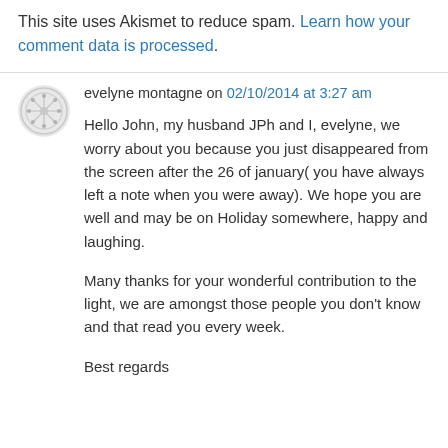This site uses Akismet to reduce spam. Learn how your comment data is processed.
evelyne montagne on 02/10/2014 at 3:27 am
Hello John, my husband JPh and I, evelyne, we worry about you because you just disappeared from the screen after the 26 of january( you have always left a note when you were away). We hope you are well and may be on Holiday somewhere, happy and laughing.
Many thanks for your wonderful contribution to the light, we are amongst those people you don't know and that read you every week.
Best regards